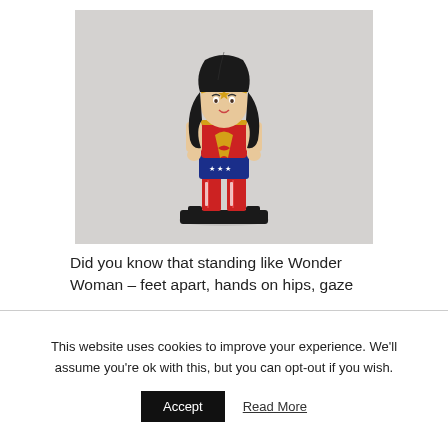[Figure (photo): A LEGO Wonder Woman minifigure standing on a black base, photographed against a light grey background. The figure has black hair, a gold tiara with a red star, red and gold top, blue shorts with white stars, and red boots.]
Did you know that standing like Wonder Woman – feet apart, hands on hips, gaze
This website uses cookies to improve your experience. We'll assume you're ok with this, but you can opt-out if you wish.
Accept
Read More